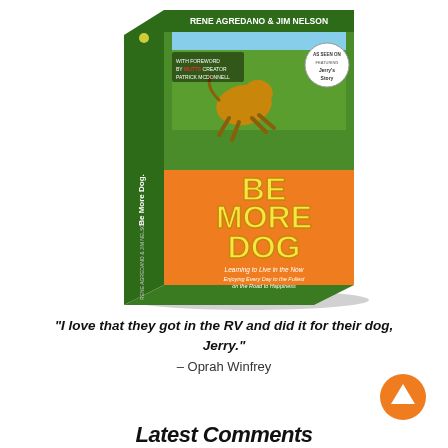[Figure (photo): A 3D rendered book titled 'Be More Dog: Learning to Live in the Now, Enjoying Every Day to the Fullest on the Road to Happiness' by Rene Agredano and Jim Nelson. The book cover features a German Shepherd dog running on a green field, large orange and yellow bold letters spelling BE MORE DOG, a green spine, and a badge reading 'As Seen On, Featuring Jerry's Story'. Also includes text 'With Foreword by MUTTS Creator Patrick McDonnell'.]
"I love that they got in the RV and did it for their dog, Jerry." – Oprah Winfrey
Latest Comments